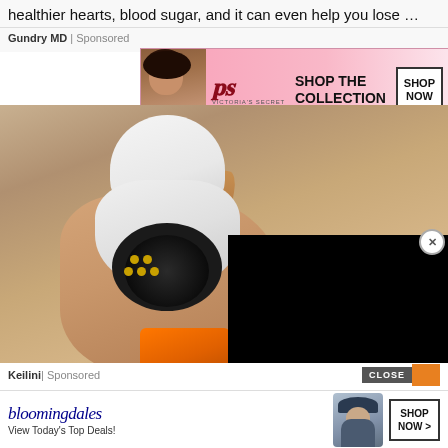healthier hearts, blood sugar, and it can even help you lose …
Gundry MD | Sponsored
[Figure (photo): Victoria's Secret advertisement banner with model, VS wings logo, VICTORIA'S SECRET text, SHOP THE COLLECTION text, and SHOP NOW button on pink background]
[Figure (photo): A hand holding a white bulb-shaped security camera device with LED lights and a black lens, partially overlaid with a black rectangle. An orange tool visible at bottom.]
Homeowners Are Trading in Their Doorbell Cams for This.
Keilini | Sponsored
[Figure (photo): Bloomingdale's advertisement banner with logo, 'View Today's Top Deals!' text, a model in a hat, and SHOP NOW > button. CLOSE button visible on right side.]